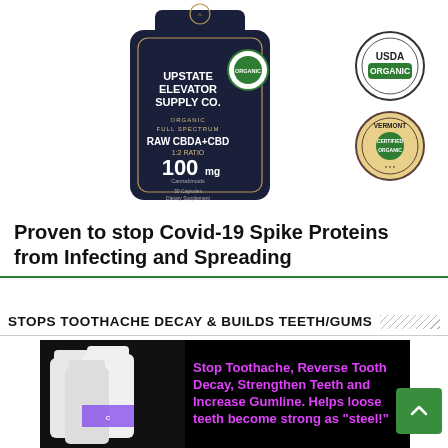[Figure (photo): Product photo of Upstate Elevator Supply Co. Organic Full Spectrum Raw CBDA+CBD 1:2 Ratio 100mg Cannabinoids 30 Capsules Dietary Supplement bottle, with USDA Organic and Vermont Organic certification badges on the right side.]
Proven to stop Covid-19 Spike Proteins from Infecting and Spreading
STOPS TOOTHACHE DECAY & BUILDS TEETH/GUMS
[Figure (photo): Black background advertisement image showing white supplement bottles on the left and magenta/pink text on the right reading: Stop Toothache, Reverse Tooth Decay, Strengthen Teeth and Increase Gumline. Helps loose teeth become strong as "steel!"]